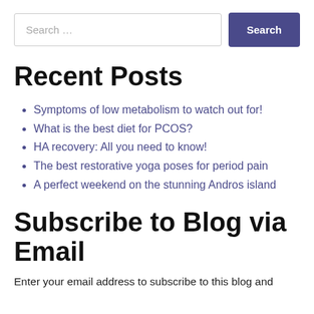[Figure (other): Search bar with text input placeholder 'Search ...' and a dark purple 'Search' button]
Recent Posts
Symptoms of low metabolism to watch out for!
What is the best diet for PCOS?
HA recovery: All you need to know!
The best restorative yoga poses for period pain
A perfect weekend on the stunning Andros island
Subscribe to Blog via Email
Enter your email address to subscribe to this blog and